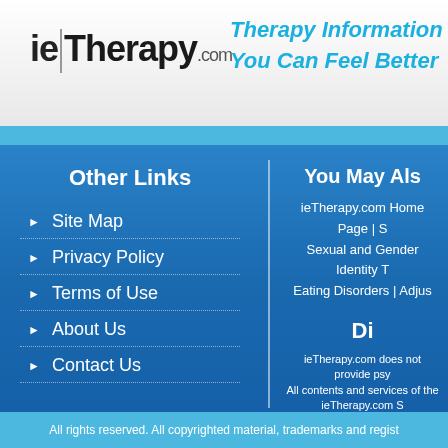[Figure (logo): ieTherapy.com logo with vertical divider bar]
Therapy Information S... You Can Feel Better
Other Links
Site Map
Privacy Policy
Terms of Use
About Us
Contact Us
You May Als
ieTherapy.com Home Page | S... Sexual and Gender Identity T... Eating Disorders | Adjus...
Di
ieTherapy.com does not provide psy... All contents and services of the ieTherapy.com S... purposes only
© ...
All rights reserved. All copyrighted material, trademarks and regist...